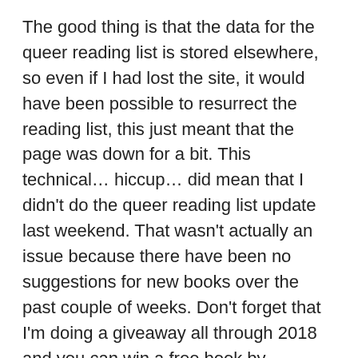The good thing is that the data for the queer reading list is stored elsewhere, so even if I had lost the site, it would have been possible to resurrect the reading list, this just meant that the page was down for a bit. This technical… hiccup… did mean that I didn't do the queer reading list update last weekend. That wasn't actually an issue because there have been no suggestions for new books over the past couple of weeks. Don't forget that I'm doing a giveaway all through 2018 and you can win a free book by recommending new books to go on the reading list.
Despite there being no books to add, the reading list is still getting an update this week. I've made a number of changes to the layout and interface. Most of these changes are